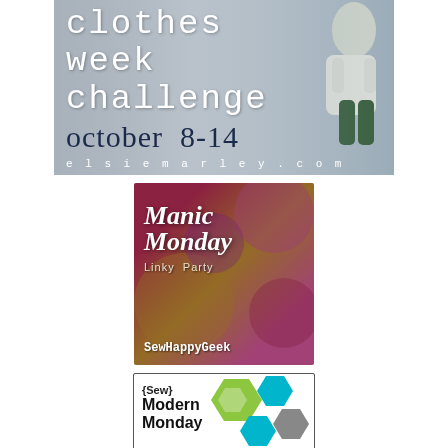[Figure (illustration): Clothes Week Challenge banner: white text on gray background with child wearing white top and green pants. Text reads 'clothes week challenge october 8-14 elsiemarley.com']
[Figure (illustration): Manic Monday Linky Party badge for SewHappyGeek with colorful fabric background and white italic text]
[Figure (illustration): {Sew} Modern Monday badge with hexagon shapes in green, teal, and gray on white background]